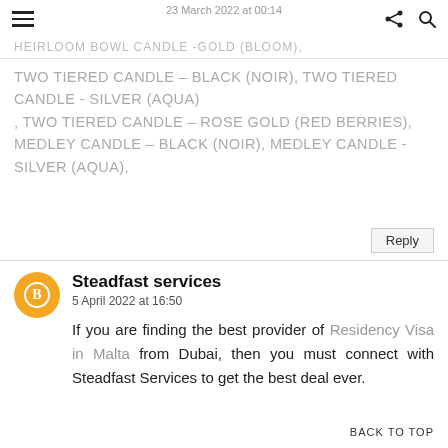23 March 2022 at 00:14
HEIRLOOM BOWL CANDLE -GOLD (BLOOM),
TWO TIERED CANDLE – BLACK (NOIR), TWO TIERED CANDLE - SILVER (AQUA) , TWO TIERED CANDLE – ROSE GOLD (RED BERRIES), MEDLEY CANDLE – BLACK (NOIR), MEDLEY CANDLE - SILVER (AQUA),
Reply
Steadfast services
5 April 2022 at 16:50
If you are finding the best provider of Residency Visa in Malta from Dubai, then you must connect with Steadfast Services to get the best deal ever.
BACK TO TOP